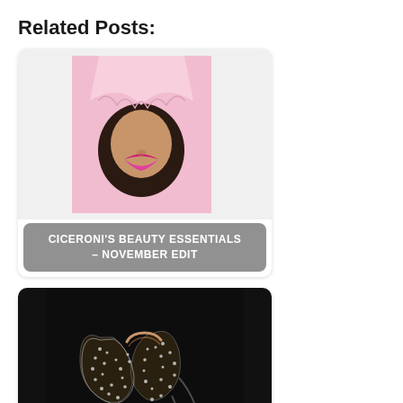Related Posts:
[Figure (photo): Beauty photo: face of a woman with pink lipstick peeking through a torn paper hole, on a pink background. Card titled 'CICERONI'S BEAUTY ESSENTIALS – NOVEMBER EDIT']
[Figure (photo): Jewellery photo: a sparkling diamond ring on a dark background. Card titled 'Sparkling Jewellery Essentials – Ciceroni's November Edit']